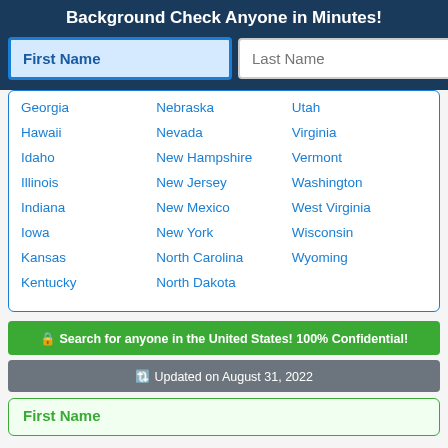Background Check Anyone in Minutes!
[Figure (screenshot): Search form with First Name (highlighted blue) and Last Name input fields and a green search button]
Georgia
Nebraska
Utah
Hawaii
Nevada
Virginia
Idaho
New Hampshire
Vermont
Illinois
New Jersey
Washington
Indiana
New Mexico
West Virginia
Iowa
New York
Wisconsin
Kansas
North Carolina
Wyoming
Kentucky
North Dakota
🔒 Search for anyone in the United States! 100% Confidential!
🔃 Updated on August 31, 2022
First Name